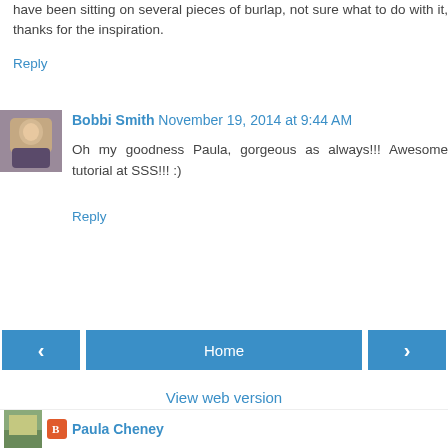have been sitting on several pieces of burlap, not sure what to do with it, thanks for the inspiration.
Reply
Bobbi Smith November 19, 2014 at 9:44 AM
Oh my goodness Paula, gorgeous as always!!! Awesome tutorial at SSS!!! :)
Reply
Home
View web version
Paula Cheney